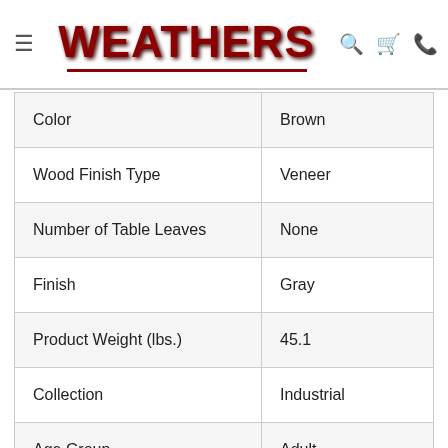WEATHERS
| Color | Brown |
| Wood Finish Type | Veneer |
| Number of Table Leaves | None |
| Finish | Gray |
| Product Weight (lbs.) | 45.1 |
| Collection | Industrial |
| Age Group | Adult |